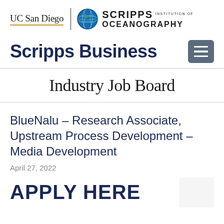[Figure (logo): UC San Diego and Scripps Institution of Oceanography logo header]
Scripps Business
Industry Job Board
BlueNalu – Research Associate, Upstream Process Development – Media Development
April 27, 2022
APPLY HERE